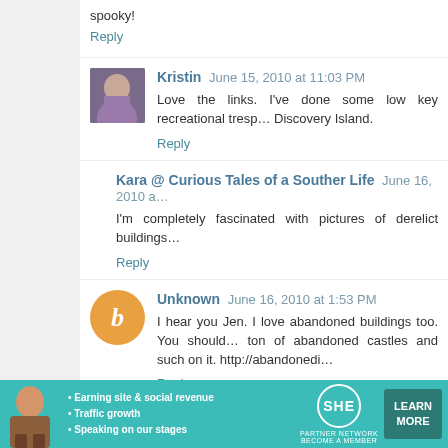spooky!
Reply
Kristin   June 15, 2010 at 11:03 PM
Love the links. I've done some low key recreational trespa... Discovery Island.
Reply
Kara @ Curious Tales of a Souther Life   June 16, 2010 a...
I'm completely fascinated with pictures of derelict buildings...
Reply
Unknown   June 16, 2010 at 1:53 PM
I hear you Jen. I love abandoned buildings too. You should... ton of abandoned castles and such on it. http://abandonedi...
Reply
[Figure (infographic): SHE Partner Network advertisement banner with teal background, showing a woman, bullet points about earning site & social revenue, traffic growth, speaking on stages, SHE logo, and Learn More button]